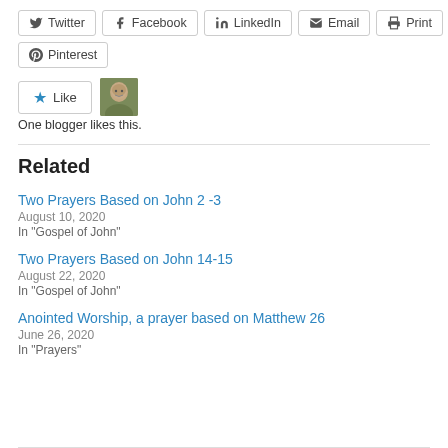Twitter
Facebook
LinkedIn
Email
Print
Pinterest
[Figure (photo): Like button with star icon and a small blogger avatar photo]
One blogger likes this.
Related
Two Prayers Based on John 2 -3
August 10, 2020
In "Gospel of John"
Two Prayers Based on John 14-15
August 22, 2020
In "Gospel of John"
Anointed Worship, a prayer based on Matthew 26
June 26, 2020
In "Prayers"